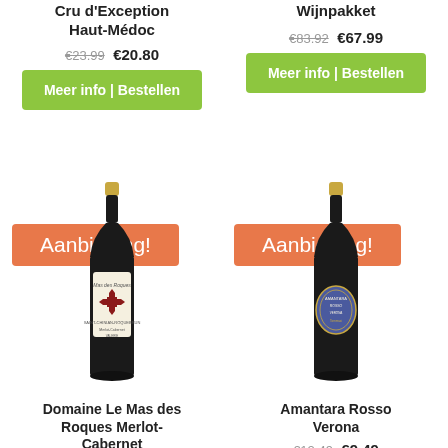Cru d'Exception Haut-Médoc
€23.99 €20.80
Meer info | Bestellen
Wijnpakket
€83.92 €67.99
Meer info | Bestellen
[Figure (photo): Red wine bottle with Maltese cross label - Domaine Le Mas des Roques Merlot-Cabernet, with orange Aanbieding! badge]
[Figure (photo): Red wine bottle with ornate blue/purple label - Amantara Rosso Verona, with orange Aanbieding! badge]
Domaine Le Mas des Roques Merlot-Cabernet
€9.99 €7.99
Amantara Rosso Verona
€12.49 €9.49